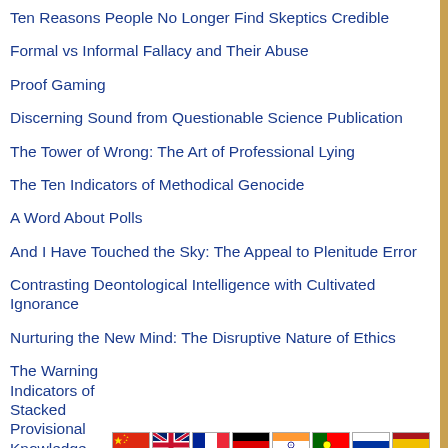Ten Reasons People No Longer Find Skeptics Credible
Formal vs Informal Fallacy and Their Abuse
Proof Gaming
Discerning Sound from Questionable Science Publication
The Tower of Wrong: The Art of Professional Lying
The Ten Indicators of Methodical Genocide
A Word About Polls
And I Have Touched the Sky: The Appeal to Plenitude Error
Contrasting Deontological Intelligence with Cultivated Ignorance
Nurturing the New Mind: The Disruptive Nature of Ethics
The Warning Indicators of Stacked Provisional Knowledge